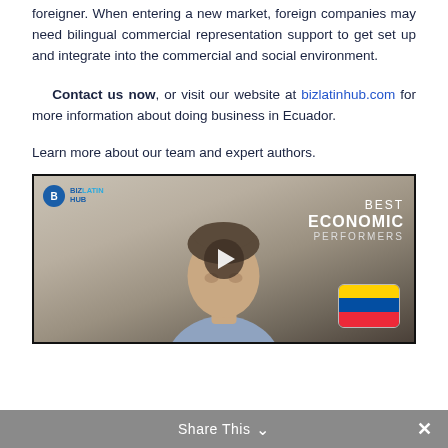foreigner. When entering a new market, foreign companies may need bilingual commercial representation support to get set up and integrate into the commercial and social environment.
Contact us now, or visit our website at bizlatinhub.com for more information about doing business in Ecuador.
Learn more about our team and expert authors.
[Figure (photo): Embedded video thumbnail showing a man in a business shirt, Biz Latin Hub logo in top-left, text 'BEST ECONOMIC PERFORMERS' on right, Ecuador flag, and a play button overlay. A grey 'Share This' bar with a chevron and close X appears at the bottom.]